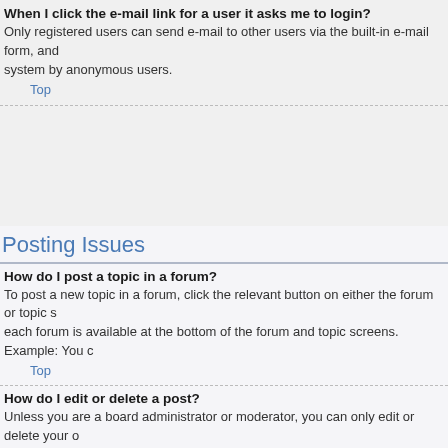When I click the e-mail link for a user it asks me to login?
Only registered users can send e-mail to other users via the built-in e-mail form, and system by anonymous users.
Top
Posting Issues
How do I post a topic in a forum?
To post a new topic in a forum, click the relevant button on either the forum or topic s each forum is available at the bottom of the forum and topic screens. Example: You c
Top
How do I edit or delete a post?
Unless you are a board administrator or moderator, you can only edit or delete your o only a limited time after the post was made. If someone has already replied to the po lists the number of times you edited it along with the date and time. This will only app post, though they may leave a note as to why they've edited the post at their own dis
Top